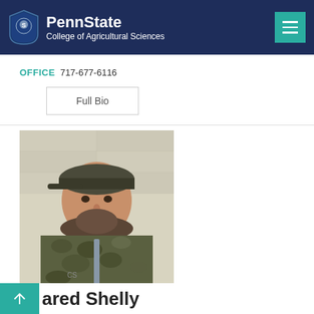PennState College of Agricultural Sciences
OFFICE 717-677-6116
Full Bio
[Figure (photo): Portrait photo of Jared Shelly wearing a camouflage hoodie and baseball cap, standing in front of a light-colored block wall]
Jared Shelly